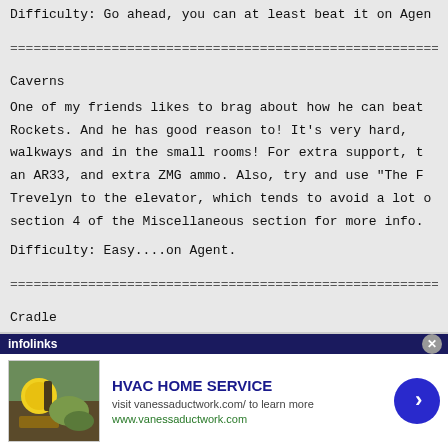Difficulty: Go ahead, you can at least beat it on Agen
================================================================
Caverns
One of my friends likes to brag about how he can beat
Rockets.  And he has good reason to!  It's very hard,
walkways and in the small rooms!  For extra support, t
an AR33, and extra ZMG ammo.  Also, try and use "The F
Trevelyn to the elevator, which tends to avoid a lot o
section 4 of the Miscellaneous section for more info.
Difficulty: Easy....on Agent.
================================================================
Cradle
The thing about this is that the only guy in the whole
Launcher is Trevelyn, and I'd rather see him fire that
ly, some people might actually find this level